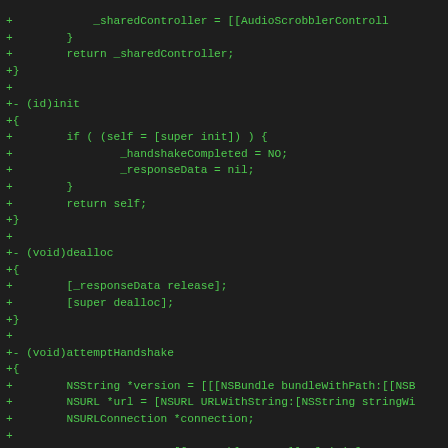[Figure (screenshot): Code diff screenshot showing Objective-C source code additions (lines prefixed with +) including sharedController return, init method with handshakeCompleted and responseData initialization, dealloc method, and attemptHandshake method with NSString, NSURL, NSURLConnection setup, responseData allocation, connection setup, and handshakeCompleted assignment, ending with handshakeCompleted method signature.]